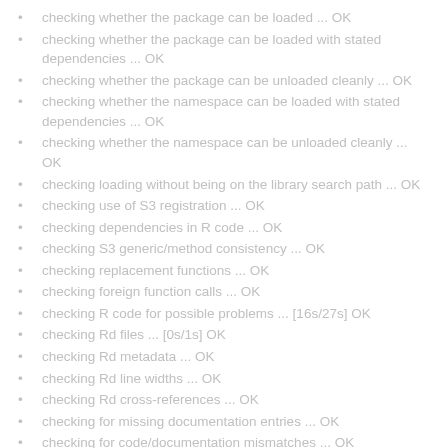checking whether the package can be loaded ... OK
checking whether the package can be loaded with stated dependencies ... OK
checking whether the package can be unloaded cleanly ... OK
checking whether the namespace can be loaded with stated dependencies ... OK
checking whether the namespace can be unloaded cleanly ... OK
checking loading without being on the library search path ... OK
checking use of S3 registration ... OK
checking dependencies in R code ... OK
checking S3 generic/method consistency ... OK
checking replacement functions ... OK
checking foreign function calls ... OK
checking R code for possible problems ... [16s/27s] OK
checking Rd files ... [0s/1s] OK
checking Rd metadata ... OK
checking Rd line widths ... OK
checking Rd cross-references ... OK
checking for missing documentation entries ... OK
checking for code/documentation mismatches ... OK
checking Rd \usage sections ... OK
checking Rd contents ... OK